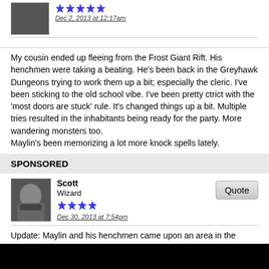[Figure (photo): User avatar, small dark photo, with star rating and timestamp Dec 2, 2013 at 12:17am]
My cousin ended up fleeing from the Frost Giant Rift. His henchmen were taking a beating. He's been back in the Greyhawk Dungeons trying to work them up a bit; especially the cleric. I've been sticking to the old school vibe. I've been pretty ctrict with the 'most doors are stuck' rule. It's changed things up a bit. Multiple tries resulted in the inhabitants being ready for the party. More wandering monsters too.
Maylin's been memorizing a lot more knock spells lately.
SPONSORED
[Figure (photo): User avatar photo of person wearing mask, with username Scott, title Wizard, 4 star rating and timestamp Dec 30, 2013 at 7:54pm, and Quote button]
Update: Maylin and his henchmen came upon an area in the dungeon where there were doors north and south of the passage they were following. When they examined the north door, a magic mouth appeared warning them not to open the door. It was locked. They picked it. Opened the door. There was a large cavern with a black dragon coming out of stasis. They slammed the door and ran. No sign of pursuit. They next went to the south door. Another magic mouth, and locked door. They opened it and quickly beat the wizard within. They went back to town. He ended up